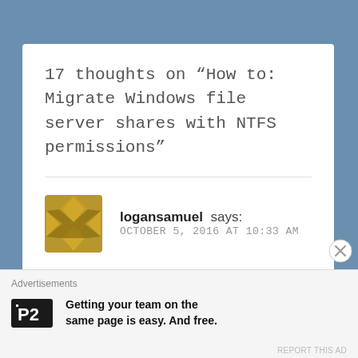17 thoughts on “How to: Migrate Windows file server shares with NTFS permissions”
logansamuel says:
OCTOBER 5, 2016 AT 10:33 AM
I used to have similar problems too, but after using
Advertisements
Getting your team on the same page is easy. And free.